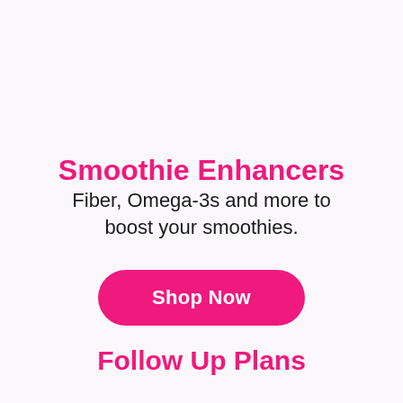Smoothie Enhancers
Fiber, Omega-3s and more to boost your smoothies.
Shop Now
Follow Up Plans